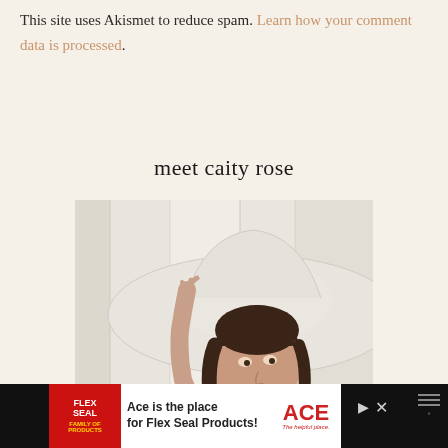This site uses Akismet to reduce spam. Learn how your comment data is processed.
meet caity rose
[Figure (photo): A young woman with dark brown bangs holding the brim of a wide white hat, photographed against a white fabric backdrop.]
[Figure (screenshot): Advertisement banner: Flex Seal Family of Products logo on left, text 'Ace is the place for Flex Seal Products!' with ACE Hardware logo, play/close buttons, and menu icon on dark bar.]